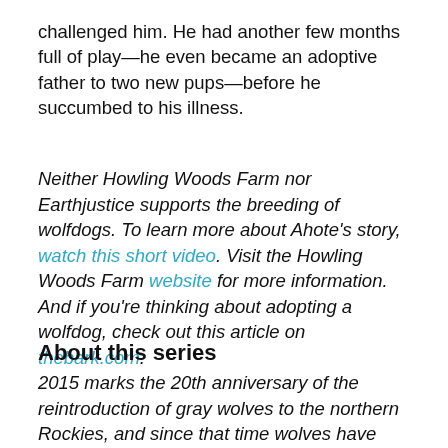challenged him. He had another few months full of play—he even became an adoptive father to two new pups—before he succumbed to his illness.
Neither Howling Woods Farm nor Earthjustice supports the breeding of wolfdogs. To learn more about Ahote's story, watch this short video. Visit the Howling Woods Farm website for more information. And if you're thinking about adopting a wolfdog, check out this article on thebark.com.
About this series
2015 marks the 20th anniversary of the reintroduction of gray wolves to the northern Rockies, and since that time wolves have been under nearly constant threat of losing their